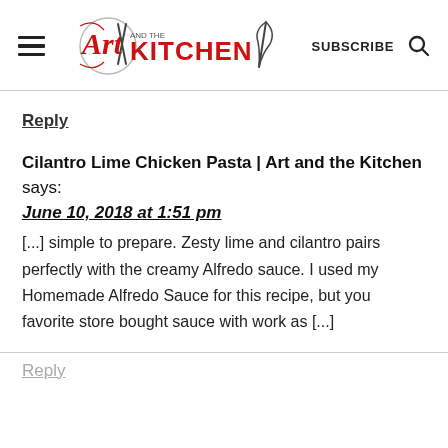[Figure (logo): Art and the Kitchen logo with chef hat and whisk, red and black text]
SUBSCRIBE
Reply
Cilantro Lime Chicken Pasta | Art and the Kitchen says:
June 10, 2018 at 1:51 pm
[...] simple to prepare. Zesty lime and cilantro pairs perfectly with the creamy Alfredo sauce. I used my Homemade Alfredo Sauce for this recipe, but you favorite store bought sauce with work as [...]
Reply